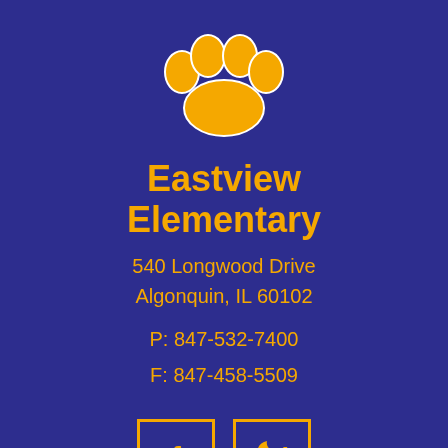[Figure (logo): Gold paw print logo on dark blue background]
Eastview Elementary
540 Longwood Drive
Algonquin, IL 60102
P: 847-532-7400
F: 847-458-5509
[Figure (logo): Facebook icon in gold square border]
[Figure (logo): Twitter bird icon in gold square border]
BACK TO TOP ↑